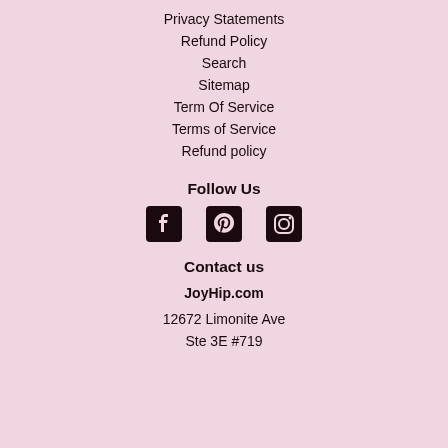Privacy Statements
Refund Policy
Search
Sitemap
Term Of Service
Terms of Service
Refund policy
Follow Us
[Figure (illustration): Social media icons: Facebook, Pinterest, Instagram]
Contact us
JoyHip.com
12672 Limonite Ave
Ste 3E #719